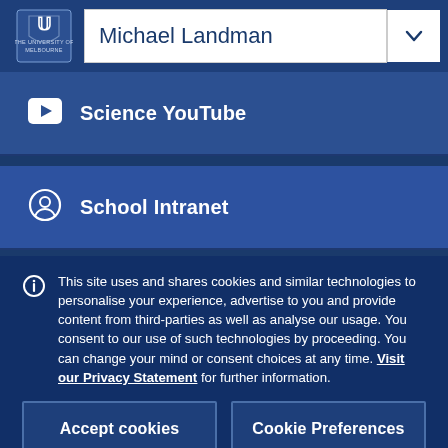Michael Landman
Science YouTube
School Intranet
This site uses and shares cookies and similar technologies to personalise your experience, advertise to you and provide content from third-parties as well as analyse our usage. You consent to our use of such technologies by proceeding. You can change your mind or consent choices at any time. Visit our Privacy Statement for further information.
Accept cookies
Cookie Preferences